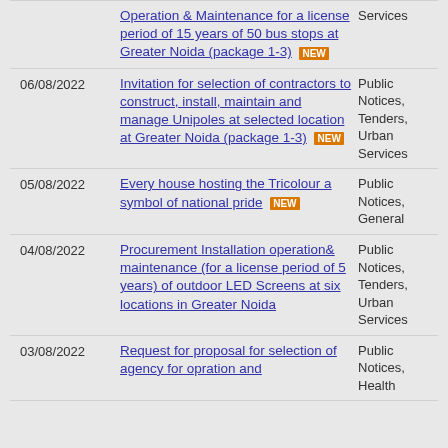Operation & Maintenance for a license period of 15 years of 50 bus stops at Greater Noida (package 1-3) [NEW] | Services
06/08/2022 | Invitation for selection of contractors to construct, install, maintain and manage Unipoles at selected location at Greater Noida (package 1-3) [NEW] | Public Notices, Tenders, Urban Services
05/08/2022 | Every house hosting the Tricolour a symbol of national pride [NEW] | Public Notices, General
04/08/2022 | Procurement Installation operation& maintenance (for a license period of 5 years) of outdoor LED Screens at six locations in Greater Noida | Public Notices, Tenders, Urban Services
03/08/2022 | Request for proposal for selection of agency for opration and | Public Notices, Health